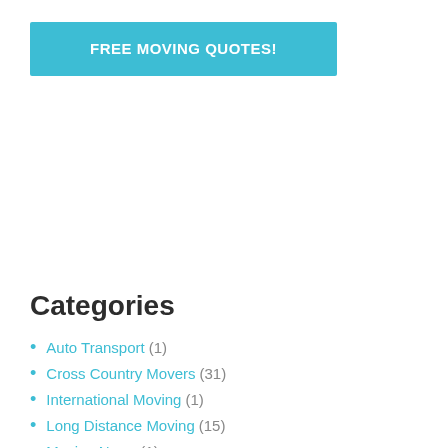[Figure (other): Teal/cyan colored call-to-action button with white bold uppercase text 'FREE MOVING QUOTES!']
Categories
Auto Transport (1)
Cross Country Movers (31)
International Moving (1)
Long Distance Moving (15)
Moving News (1)